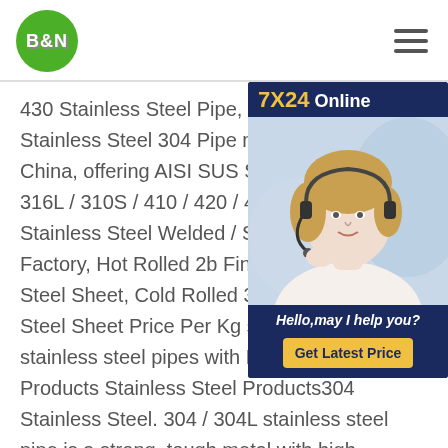[Figure (logo): B&N company logo: green circle with white bold B&N text]
430 Stainless Steel Pipe, Stainless Steel 304 Pipe manufacturer in China, offering AISI SUS Ss 201 / 202 / 316 / 316L / 310S / 410 / 420 / 430 / 904 / 2507 Stainless Steel Welded / Seamless Price Factory, Hot Rolled 2b Finish Plate Stainless Steel Sheet, Cold Rolled 304 Stainless Steel Sheet Price Per Kg sus seamless stainless steel pipes with MTC Carbon Steel Products Stainless Steel Products304 Stainless Steel. 304 / 304L stainless steel pipe is a strong, tough metal with high corrosion protection, high temperature resistance and the ability to be sterlized.
[Figure (infographic): 7X24 Online chat widget with customer service representative photo, Hello may I help you? text, and Get Latest Price button]